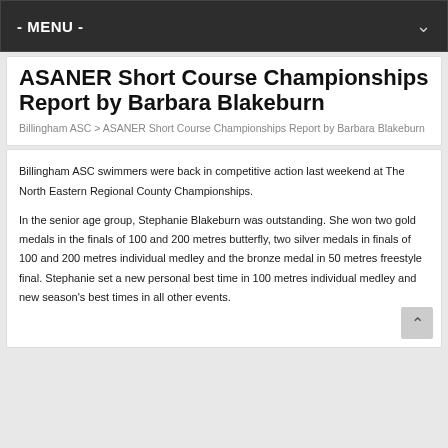- MENU -
ASANER Short Course Championships Report by Barbara Blakeburn
Billingham ASC > ASANER Short Course Championships Report by Barbara Blakeburn
Billingham ASC swimmers were back in competitive action last weekend at The North Eastern Regional County Championships.

In the senior age group, Stephanie Blakeburn was outstanding. She won two gold medals in the finals of 100 and 200 metres butterfly, two silver medals in finals of 100 and 200 metres individual medley and the bronze medal in 50 metres freestyle final. Stephanie set a new personal best time in 100 metres individual medley and new season's best times in all other events.